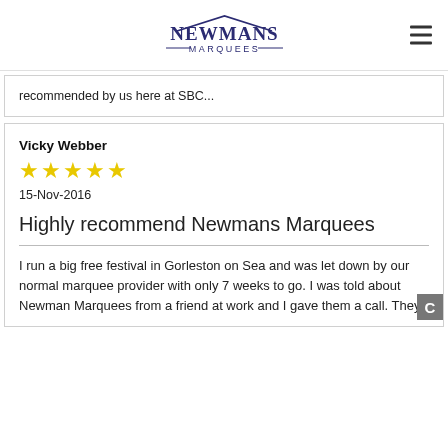Newmans Marquees
recommended by us here at SBC...
Vicky Webber
★★★★★
15-Nov-2016
Highly recommend Newmans Marquees
I run a big free festival in Gorleston on Sea and was let down by our normal marquee provider with only 7 weeks to go. I was told about Newman Marquees from a friend at work and I gave them a call. They